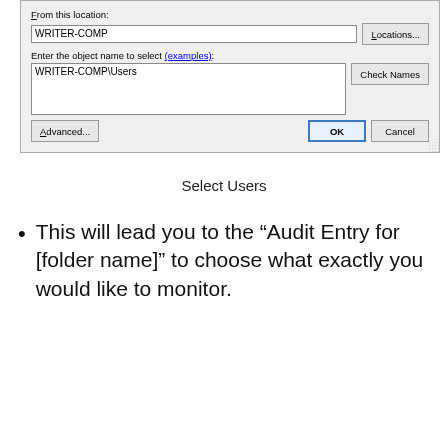[Figure (screenshot): Windows dialog box for selecting users. Shows 'From this location: WRITER-COMP' with a Locations button, 'Enter the object name to select (examples):' label with input showing 'WRITER-COMP\Users', a Check Names button, and bottom row with Advanced..., OK, and Cancel buttons.]
Select Users
This will lead you to the “Audit Entry for [folder name]” to choose what exactly you would like to monitor.